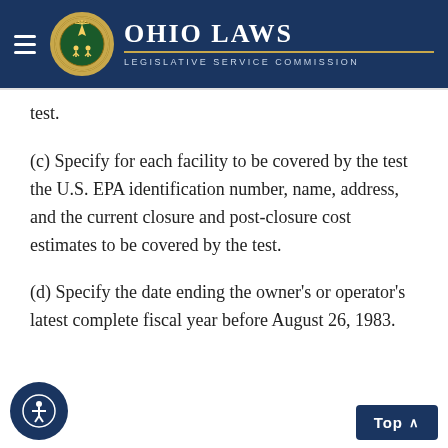Ohio Laws — Legislative Service Commission
test.
(c) Specify for each facility to be covered by the test the U.S. EPA identification number, name, address, and the current closure and post-closure cost estimates to be covered by the test.
(d) Specify the date ending the owner's or operator's latest complete fiscal year before August 26, 1983.